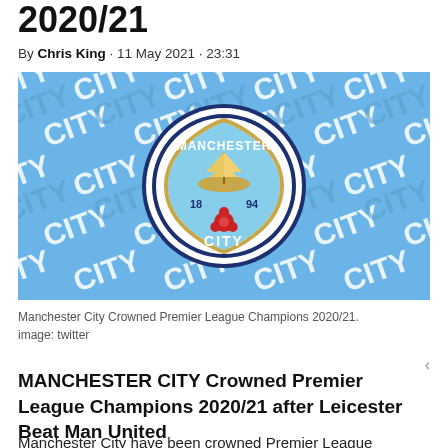2020/21
By Chris King · 11 May 2021 · 23:31
[Figure (photo): Manchester City badge / crest on a light blue background with repeated CITY text pattern. The circular crest shows a ship, a red rose, and the text MANCHESTER CITY 1894.]
Manchester City Crowned Premier League Champions 2020/21. image: twitter
MANCHESTER CITY Crowned Premier League Champions 2020/21 after Leicester Beat Man United
Manchester City have been crowned Premier League